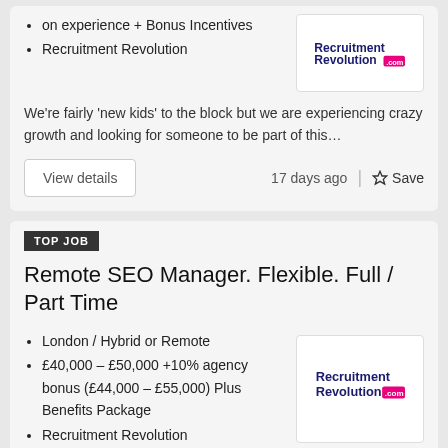on experience + Bonus Incentives
Recruitment Revolution
We're fairly 'new kids' to the block but we are experiencing crazy growth and looking for someone to be part of this…
17 days ago  |  ☆ Save
TOP JOB
Remote SEO Manager. Flexible. Full / Part Time
London / Hybrid or Remote
£40,000 – £50,000 +10% agency bonus (£44,000 – £55,000) Plus Benefits Package
Recruitment Revolution